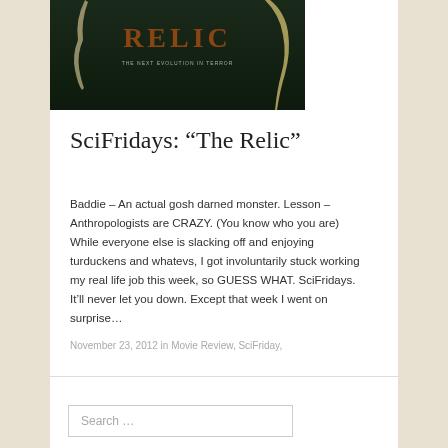[Figure (photo): Movie poster/cover image for 'The Relic' showing dark background with the title 'RELIC' in large brownish-red letters, subtitle text below, and claw-like shapes on the sides]
SciFridays: “The Relic”
Baddie – An actual gosh darned monster. Lesson – Anthropologists are CRAZY. (You know who you are) While everyone else is slacking off and enjoying turduckens and whatevs, I got involuntarily stuck working my real life job this week, so GUESS WHAT. SciFridays. It’ll never let you down. Except that week I went on surprise…
November 23, 2012 in Movie Review, SciFriday,
Search …